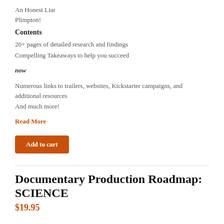An Honest Liar
Plimpton!
Contents
20+ pages of detailed research and findings
Compelling Takeaways to help you succeed now
Numerous links to trailers, websites, Kickstarter campaigns, and additional resources
And much more!
Read More
Add to cart
Documentary Production Roadmap: SCIENCE
$19.95